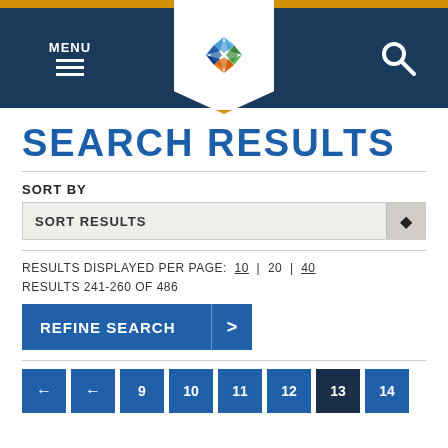MENU [hamburger icon] [logo] [search icon]
SEARCH RESULTS
SORT BY
SORT RESULTS
RESULTS DISPLAYED PER PAGE: 10 | 20 | 40
RESULTS 241-260 OF 486
REFINE SEARCH >
← ← 9 10 11 12 13 14